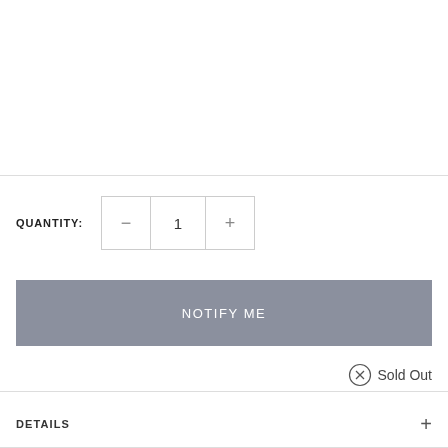QUANTITY: 1
NOTIFY ME
Sold Out
DETAILS